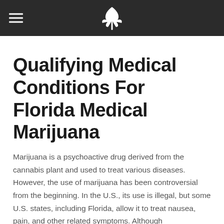[hamburger menu] [cannabis leaf logo]
Qualifying Medical Conditions For Florida Medical Marijuana
Marijuana is a psychoactive drug derived from the cannabis plant and used to treat various diseases. However, the use of marijuana has been controversial from the beginning. In the U.S., its use is illegal, but some U.S. states, including Florida, allow it to treat nausea, pain, and other related symptoms. Although